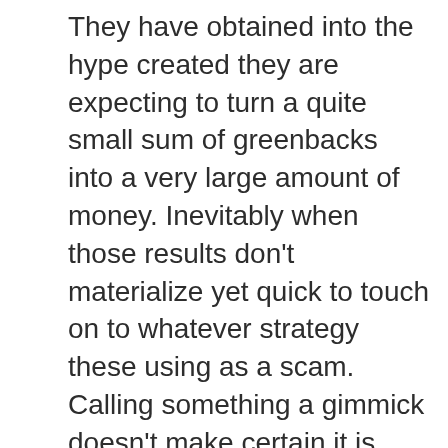They have obtained into the hype created they are expecting to turn a quite small sum of greenbacks into a very large amount of money. Inevitably when those results don't materialize yet quick to touch on to whatever strategy these using as a scam. Calling something a gimmick doesn't make certain it is one. These people might have actually a new successful Football results betting system, but they do not check out discipline to stay with one.
Are that you' Formula 1 fan? I'll tell you what, honestly, I'm significantly of a follower but i am not saying I don't love this app. This free Android sports app provides additional live updates for every F1 race around Football news the earth. [link] and simple